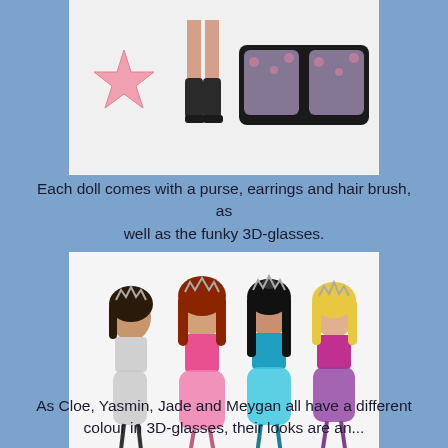[Figure (photo): Photo of doll accessories including a pink star-shaped hair brush, doll legs in black boots, and decorative polka-dot 3D glasses on a white background.]
Each doll comes with a purse, earrings and hair brush, as well as the funky 3D-glasses.
[Figure (photo): Photo of four Bratz dolls (Cloe, Yasmin, Jade, and Meygan) wearing formal dresses with tiaras and accessories, posed together on a white background.]
As Cloe, Yasmin, Jade and Meygan all have a different colour in 3D-glasses, their looks are an...